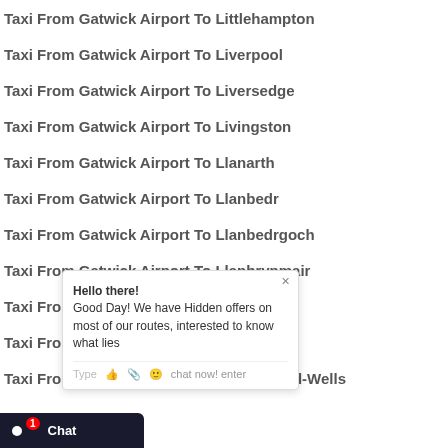Taxi From Gatwick Airport To Littlehampton
Taxi From Gatwick Airport To Liverpool
Taxi From Gatwick Airport To Liversedge
Taxi From Gatwick Airport To Livingston
Taxi From Gatwick Airport To Llanarth
Taxi From Gatwick Airport To Llanbedr
Taxi From Gatwick Airport To Llanbedrgoch
Taxi From Gatwick Airport To Llanbrynmair
Taxi From Gatwick Airport To Llandeilo
Taxi From Gatwick Airport To Llandovery
Taxi From Gatwick Airport To Llandrindod-Wells
[Figure (screenshot): Chat popup overlay with message: Hello there! Good Day! We have Hidden offers on most of our routes, interested to know what lies... with Type, thumbs up, paperclip, emoji icons and 'chat now! enter' text. Chat bar at bottom left with dot icon, Chat label and red badge showing 1.]